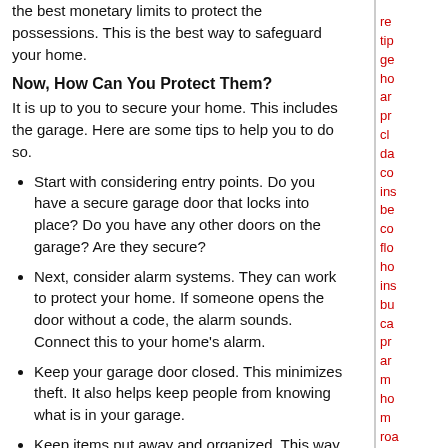the best monetary limits to protect the possessions. This is the best way to safeguard your home.
Now, How Can You Protect Them?
It is up to you to secure your home. This includes the garage. Here are some tips to help you to do so.
Start with considering entry points. Do you have a secure garage door that locks into place? Do you have any other doors on the garage? Are they secure?
Next, consider alarm systems. They can work to protect your home. If someone opens the door without a code, the alarm sounds. Connect this to your home's alarm.
Keep your garage door closed. This minimizes theft. It also helps keep people from knowing what is in your garage.
Keep items put away and organized. This way, if something is missing, you know about it as soon as possible.
Be sure your garage door opener has a unique opening code. Change it every few months. This ensures no one else can use it.
Keep your garage as safe as you would your home. Many times, it offers an easy entrance into your home as well. Be sure to let your home insurance agent know about any type of
re tip ge ho ar pr cl da co ins be co flo ho ins bu ca pr ar m ho m roa e a am